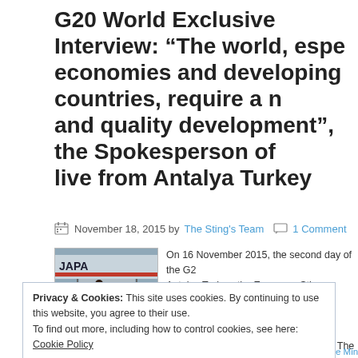G20 World Exclusive Interview: “The world, especially emerging economies and developing countries, require a more sustainable and quality development”, the Spokesperson of Japan speaks live from Antalya Turkey
November 18, 2015 by The Sting’s Team • 1 Comment
[Figure (photo): Photo of officials descending stairs from a Japan airplane at Antalya Turkey, G20 summit]
On 16 November 2015, the second day of the G20 Summit in Antalya Turkey, the European Sting conducted an interview with HE Mr Yasuhisa Kawamura, Spokesperson for the Press and Public Diplomacy of Japan. The complete interview taken by Panos Katsampanis, Co-Founder of the Sting, took place inside a suite […]
Privacy & Cookies: This site uses cookies. By continuing to use this website, you agree to their use.
To find out more, including how to control cookies, see here: Cookie Policy
Close and accept
EU EPA, OECD G20, Panos Katsampanis, Paris Attacks Japan, Prime Minister Abe…